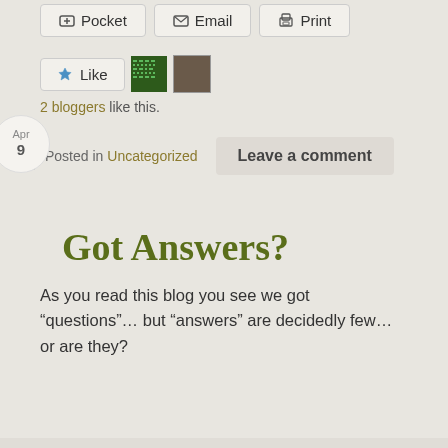[Figure (screenshot): Row of social sharing buttons: Pocket, Email, Print]
[Figure (screenshot): Like button with star icon, pixel/avatar icons next to it]
2 bloggers like this.
Posted in Uncategorized
Leave a comment
Got Answers?
As you read this blog you see we got “questions”… but “answers” are decidedly few… or are they?